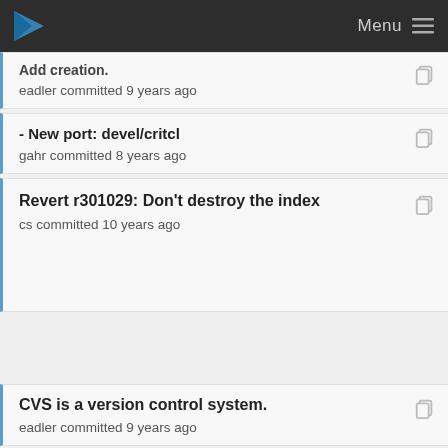Menu
Add creation. eadler committed 9 years ago
- New port: devel/critcl
gahr committed 8 years ago
Revert r301029: Don't destroy the index
cs committed 10 years ago
CVS is a version control system.
eadler committed 9 years ago